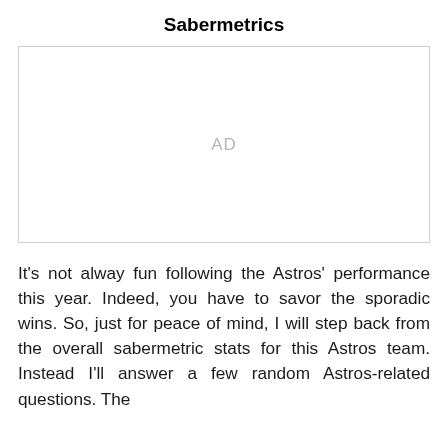Sabermetrics
[Figure (other): Advertisement placeholder box with 'AD' label in gray]
It's not alway fun following the Astros' performance this year. Indeed, you have to savor the sporadic wins. So, just for peace of mind, I will step back from the overall sabermetric stats for this Astros team. Instead I'll answer a few random Astros-related questions. The